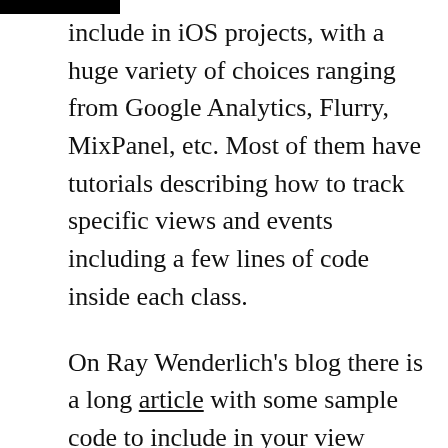include in iOS projects, with a huge variety of choices ranging from Google Analytics, Flurry, MixPanel, etc. Most of them have tutorials describing how to track specific views and events including a few lines of code inside each class.
On Ray Wenderlich's blog there is a long article with some sample code to include in your view controller in order to track an event with Google Analytics: